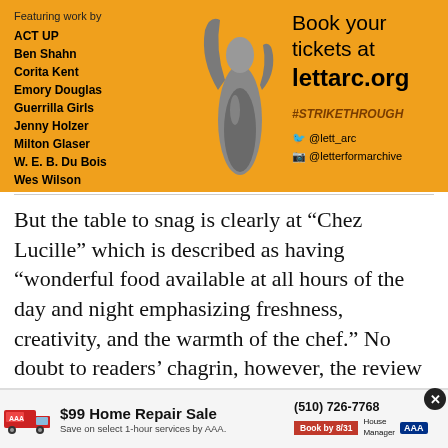[Figure (infographic): Orange advertisement banner for an art exhibition. Left side lists featured artists: ACT UP, Ben Shahn, Corita Kent, Emory Douglas, Guerrilla Girls, Jenny Holzer, Milton Glaser, W. E. B. Du Bois, Wes Wilson, and more. Center shows a grayscale sculptural figure. Right side says 'Book your tickets at lettarc.org', '#STRIKETHROUGH', '@lett_arc', '@letterformarchive'.]
But the table to snag is clearly at “Chez Lucille” which is described as having “wonderful food available at all hours of the day and night emphasizing freshness, creativity, and the warmth of the chef.” No doubt to readers’ chagrin, however, the review concludes: “Unfortunately dining is only by personal invitation of the chef.”
[Figure (infographic): Bottom advertisement bar: AAA $99 Home Repair Sale. Save on select 1-hour services by AAA. Phone: (510) 726-7768. Book by 8/31. House Manager branding. Red truck icon.]